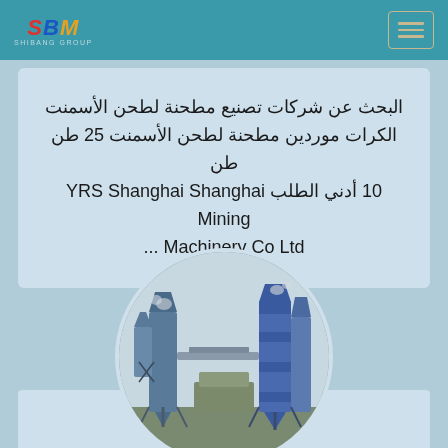SBM SHIBANG GROUP
البحث عن شركات تصنيع مطحنة لطحن الأسمنت الكرات موردين مطحنة لطحن الأسمنت 25 طن طن 10 أدني الطلب YRS Shanghai Shanghai Mining Machinery Co Ltd ...
[Figure (photo): Industrial cement ball mill plant with silos and conveyor structures, shown in a circular cropped photo]